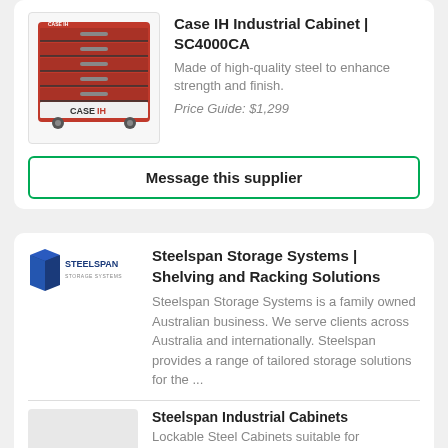[Figure (photo): Red Case IH industrial tool cabinet with multiple drawers on wheels]
Case IH Industrial Cabinet | SC4000CA
Made of high-quality steel to enhance strength and finish.
Price Guide: $1,299
Message this supplier
[Figure (logo): Steelspan Storage Systems logo]
Steelspan Storage Systems | Shelving and Racking Solutions
Steelspan Storage Systems is a family owned Australian business. We serve clients across Australia and internationally. Steelspan provides a range of tailored storage solutions for the ...
Steelspan Industrial Cabinets
Lockable Steel Cabinets suitable for workshop, home garage and office